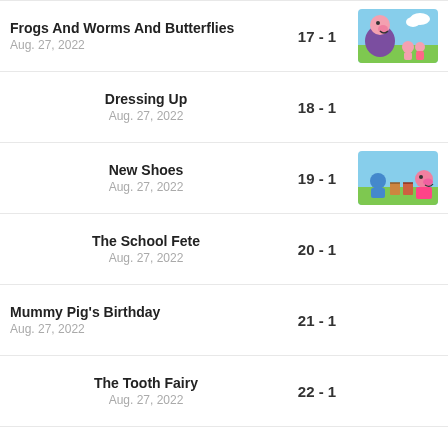Frogs And Worms And Butterflies
Aug. 27, 2022
17 - 1
Dressing Up
Aug. 27, 2022
18 - 1
New Shoes
Aug. 27, 2022
19 - 1
The School Fete
Aug. 27, 2022
20 - 1
Mummy Pig's Birthday
Aug. 27, 2022
21 - 1
The Tooth Fairy
Aug. 27, 2022
22 - 1
The New Car
Aug. 27, 2022
23 - 1